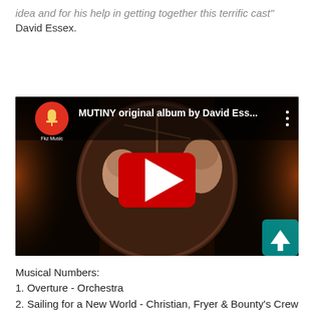idea and for his help in getting together this terrific cast" David Essex.
[Figure (screenshot): YouTube video thumbnail showing 'MUTINY original album by David Ess...' with a play button overlay on an album art featuring illustrated figures. Channel icon shows a microphone logo labeled 'Fkz Music'.]
Musical Numbers:
1. Overture - Orchestra
2. Sailing for a New World - Christian, Fryer & Bounty's Crew